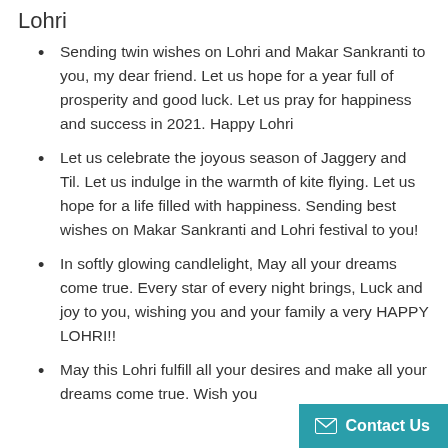Lohri
Sending twin wishes on Lohri and Makar Sankranti to you, my dear friend. Let us hope for a year full of prosperity and good luck. Let us pray for happiness and success in 2021. Happy Lohri
Let us celebrate the joyous season of Jaggery and Til. Let us indulge in the warmth of kite flying. Let us hope for a life filled with happiness. Sending best wishes on Makar Sankranti and Lohri festival to you!
In softly glowing candlelight, May all your dreams come true. Every star of every night brings, Luck and joy to you, wishing you and your family a very HAPPY LOHRI!!
May this Lohri fulfill all your desires and make all your dreams come true. Wish you...